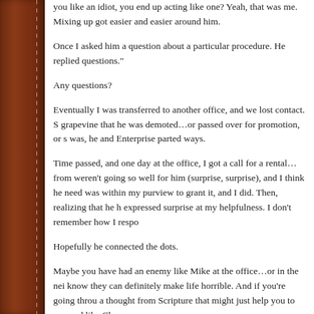you like an idiot, you end up acting like one? Yeah, that was me. Mixing up got easier and easier around him.
Once I asked him a question about a particular procedure. He replied questions."
Any questions?
Eventually I was transferred to another office, and we lost contact. S grapevine that he was demoted…or passed over for promotion, or s was, he and Enterprise parted ways.
Time passed, and one day at the office, I got a call for a rental…from weren't going so well for him (surprise, surprise), and I think he nee was within my purview to grant it, and I did. Then, realizing that he h expressed surprise at my helpfulness. I don't remember how I respo
Hopefully he connected the dots.
Maybe you have had an enemy like Mike at the office…or in the nei know they can definitely make life horrible. And if you're going throu a thought from Scripture that might just help you to respond like Chr